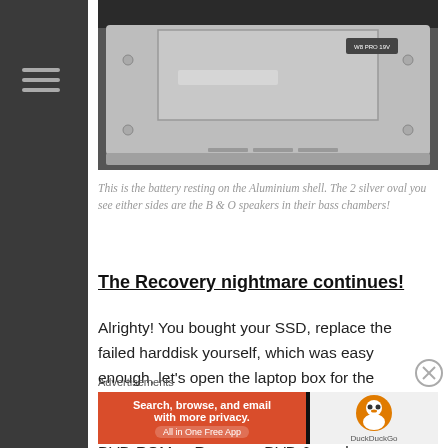[Figure (photo): Bottom view of a laptop showing the aluminium shell with a battery visible. Two silver oval shapes (B&O speaker bass chambers) are visible on either side.]
This is the battery resting on the Aluminium shell. The 2 silver oval you see either sides are the B & O speakers in their bass chambers!
The Recovery nightmare continues!
Alrighty! You bought your SSD, replace the failed harddisk yourself, which was easy enough, let’s open the laptop box for the recovery DVD & Windows 8 Product Key. Except your new Ultrabook doesn’t come with a DVD-ROM or Recovery DVD & maybe even without a Windows 8 Product Key! Faintz!
Advertisements
[Figure (screenshot): DuckDuckGo advertisement banner: orange left panel with text 'Search, browse, and email with more privacy. All in One Free App', and right panel with DuckDuckGo logo.]